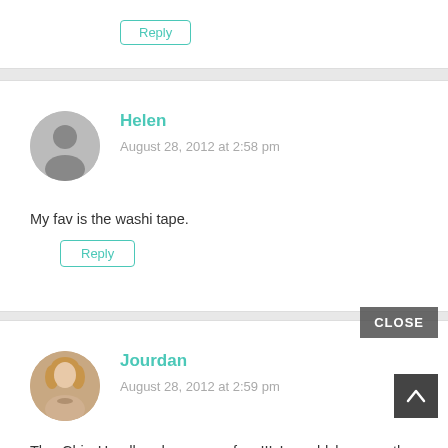Reply
Helen
August 28, 2012 at 2:58 pm
My fav is the washi tape.
Reply
Jourdan
August 28, 2012 at 2:59 pm
The Chic Headbands are my fave!!! I would love another headband!! I love the one that I have already {that is me in the pic!}. I definitely need more to add to my collection.
Reply